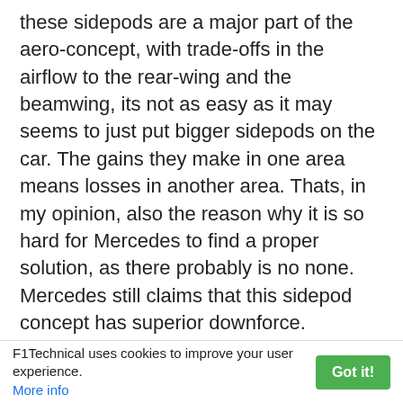these sidepods are a major part of the aero-concept, with trade-offs in the airflow to the rear-wing and the beamwing, its not as easy as it may seems to just put bigger sidepods on the car. The gains they make in one area means losses in another area. Thats, in my opinion, also the reason why it is so hard for Mercedes to find a proper solution, as there probably is no none. Mercedes still claims that this sidepod concept has superior downforce. Personally i doubt this, because the concept "drives" the floor with getting more air over the diffusor, but this makes them loose downforce created by the rear/beanwing assembly and letting this assembly drive the diffusor(what is more efficient) because of their huge airbox and wide engine cover(that lets much less air getting to the rear-wing/beamwing). Also it lacks the pressurisation-zone under the sidepod inlets that probably helps underfloor performance, too. But even if
F1Technical uses cookies to improve your user experience. More info | Got it!